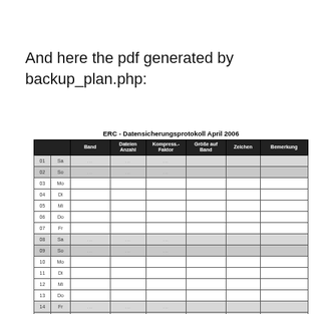And here the pdf generated by backup_plan.php:
ERC - Datensicherungsprotokoll April 2006
|  |  | Band | Dateien Anzahl | Kompress.- Faktor | Größe auf Band | Zeichen | Bemerkung |
| --- | --- | --- | --- | --- | --- | --- | --- |
| 01 | Sa | ... | ... | ... |  |  |  |
| 02 | So | ... | ... | ... |  |  |  |
| 03 | Mo |  |  |  |  |  |  |
| 04 | Di |  |  |  |  |  |  |
| 05 | Mi |  |  |  |  |  |  |
| 06 | Do |  |  |  |  |  |  |
| 07 | Fr |  |  |  |  |  |  |
| 08 | Sa | ... | ... | ... |  |  |  |
| 09 | So | ... | ... | ... |  |  |  |
| 10 | Mo |  |  |  |  |  |  |
| 11 | Di |  |  |  |  |  |  |
| 12 | Mi |  |  |  |  |  |  |
| 13 | Do |  |  |  |  |  |  |
| 14 | Fr | ... | ... | ... |  |  |  |
| 15 | Sa | ... | ... | ... |  |  |  |
| 16 | So | ... | ... | ... |  |  |  |
| 17 | Mo | ... | ... | ... |  |  |  |
| 18 | Di |  |  |  |  |  |  |
| 19 | Mi |  |  |  |  |  |  |